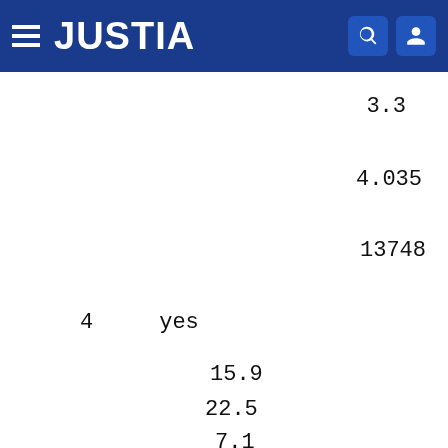JUSTIA
3.3
4.035
13748
4     yes
15.9
22.5
7.1
7.0
7.1